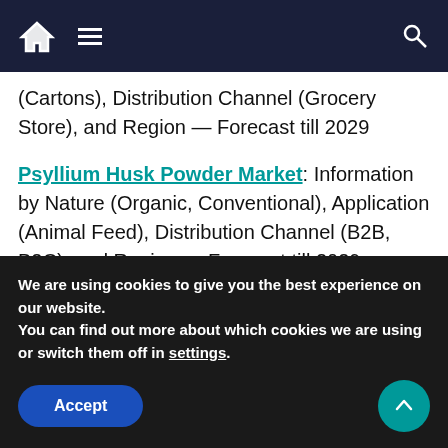Navigation bar with home, menu, and search icons
(Cartons), Distribution Channel (Grocery Store), and Region — Forecast till 2029
Psyllium Husk Powder Market: Information by Nature (Organic, Conventional), Application (Animal Feed), Distribution Channel (B2B, B2C), and Region — Forecast till 2029
Pasta Sauce Market: Information by Type (Red Sauce, White Sauce), Base (Vegetable Base), Distribution Channel (Online Stores), Nature (Organic), and Region — Forecast till 2029
We are using cookies to give you the best experience on our website.
You can find out more about which cookies we are using or switch them off in settings.
Accept